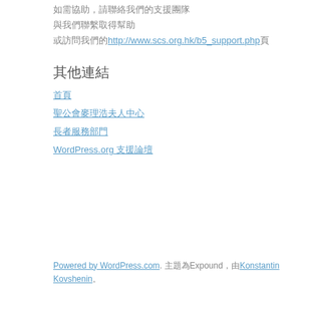如需協助，請聯絡我們的支援團隊
與我們聯繫取得幫助
或訪問我們的http://www.scs.org.hk/b5_support.php頁
其他連結
首頁
聖公會麥理浩夫人中心
長者服務部門
WordPress.org 支援論壇
Powered by WordPress.com. 主題為Expound，由Konstantin Kovshenin。